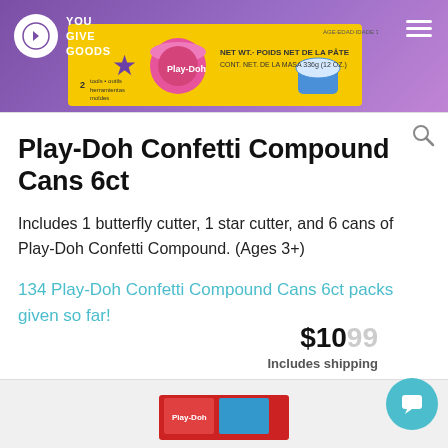YouGiveGoods
[Figure (photo): Play-Doh Confetti Compound Cans 6ct product box image showing colorful Play-Doh cans, cookie cutters, and cupcake decorations. Text on box: '2 tools • outils herramientas moldes', 'NET WT. POIDS NET DE LA PÂTE CONT. NET. DE LA MASA 336g (12 OZ.)', 'AGE-EDAD-IDADE 3+']
Play-Doh Confetti Compound Cans 6ct
Includes 1 butterfly cutter, 1 star cutter, and 6 cans of Play-Doh Confetti Compound. (Ages 3+)
134 Play-Doh Confetti Compound Cans 6ct packs given so far!
$10.99 Includes shipping